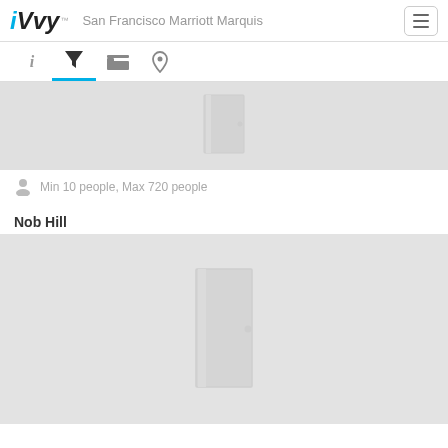[Figure (logo): iVvy logo with cyan i and black Vvy]
San Francisco Marriott Marquis
[Figure (screenshot): Navigation tab bar with info, filter (active/selected with blue underline), bed, and location pin icons]
[Figure (photo): Venue image placeholder showing partial door icon on grey background (top cropped)]
Min 10 people, Max 720 people
Nob Hill
[Figure (photo): Nob Hill venue image placeholder with door icon on grey background]